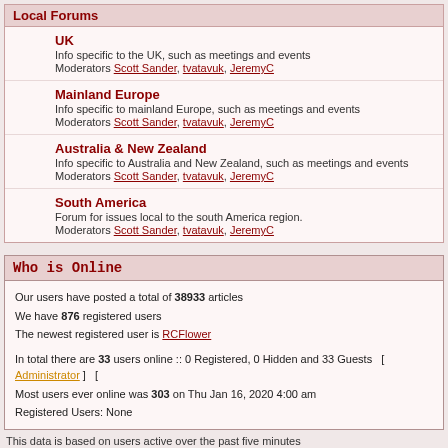Local Forums
UK
Info specific to the UK, such as meetings and events
Moderators Scott Sander, tvatavuk, JeremyC
Mainland Europe
Info specific to mainland Europe, such as meetings and events
Moderators Scott Sander, tvatavuk, JeremyC
Australia & New Zealand
Info specific to Australia and New Zealand, such as meetings and events
Moderators Scott Sander, tvatavuk, JeremyC
South America
Forum for issues local to the south America region.
Moderators Scott Sander, tvatavuk, JeremyC
Who is Online
Our users have posted a total of 38933 articles
We have 876 registered users
The newest registered user is RCFlower
In total there are 33 users online :: 0 Registered, 0 Hidden and 33 Guests   [ Administrator ]  [
Most users ever online was 303 on Thu Jan 16, 2020 4:00 am
Registered Users: None
This data is based on users active over the past five minutes
New posts    No new posts